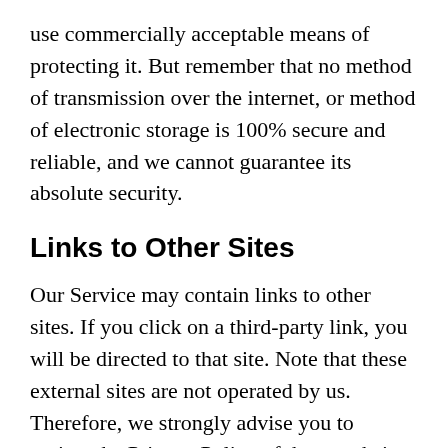use commercially acceptable means of protecting it. But remember that no method of transmission over the internet, or method of electronic storage is 100% secure and reliable, and we cannot guarantee its absolute security.
Links to Other Sites
Our Service may contain links to other sites. If you click on a third-party link, you will be directed to that site. Note that these external sites are not operated by us. Therefore, we strongly advise you to review the Privacy Policy of these websites. We have no control over, and